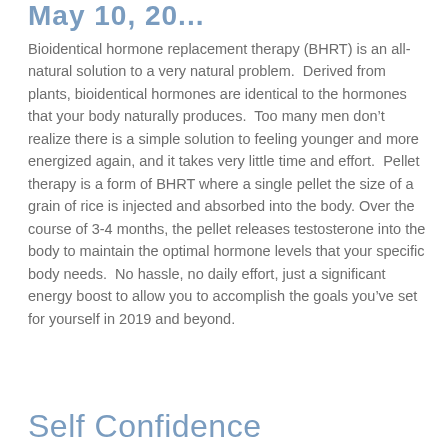May 10, 20...
Bioidentical hormone replacement therapy (BHRT) is an all-natural solution to a very natural problem. Derived from plants, bioidentical hormones are identical to the hormones that your body naturally produces. Too many men don’t realize there is a simple solution to feeling younger and more energized again, and it takes very little time and effort. Pellet therapy is a form of BHRT where a single pellet the size of a grain of rice is injected and absorbed into the body. Over the course of 3-4 months, the pellet releases testosterone into the body to maintain the optimal hormone levels that your specific body needs. No hassle, no daily effort, just a significant energy boost to allow you to accomplish the goals you’ve set for yourself in 2019 and beyond.
Self Confidence